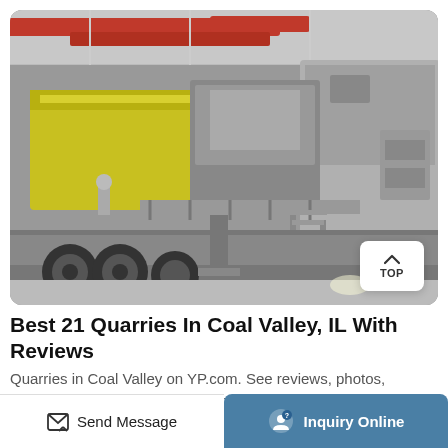[Figure (photo): Black and white industrial photograph showing large mining/quarry machinery (a mobile crusher or screening plant) on a truck chassis inside a large industrial building with red overhead crane beams visible at the top.]
Best 21 Quarries In Coal Valley, IL With Reviews
Quarries in Coal Valley on YP.com. See reviews, photos, directions, phone numbers and more for the best Quarries in Coal Valley, IL.
Send Message
Inquiry Online